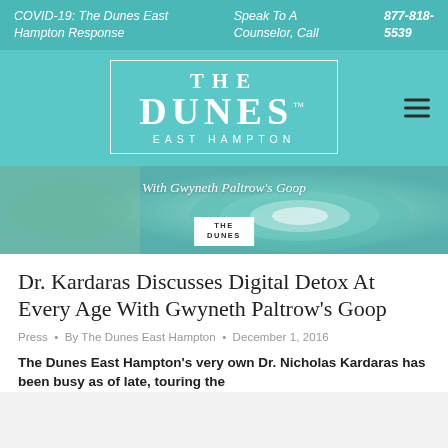COVID-19: The Dunes East Hampton Response  |  Speak To A Counselor, Call  |  877-818-5539
[Figure (logo): The Dunes East Hampton logo in white text with border, on teal background, with hamburger menu icon]
[Figure (photo): Hero image with ocean wave swirl, italic text reading 'With Gwyneth Paltrow's Goop', small The Dunes logo box in lower center]
Dr. Kardaras Discusses Digital Detox At Every Age With Gwyneth Paltrow's Goop
Press • By The Dunes East Hampton • December 1, 2016
The Dunes East Hampton's very own Dr. Nicholas Kardaras has been busy as of late, touring the